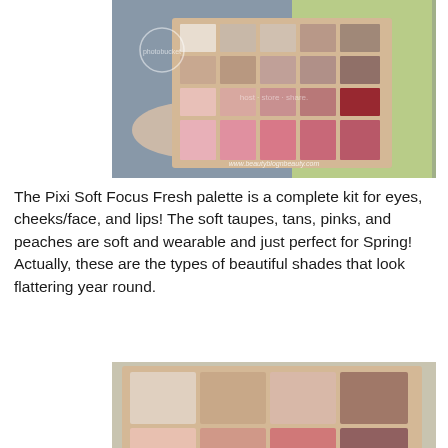[Figure (photo): Photo of Pixi Soft Focus Fresh makeup palette showing a grid of eyeshadow and blush colors in taupes, pinks, and peaches, held open with a green box in background. Photobucket watermark visible.]
The Pixi Soft Focus Fresh palette is a complete kit for eyes, cheeks/face, and lips! The soft taupes, tans, pinks, and peaches are soft and wearable and just perfect for Spring! Actually, these are the types of beautiful shades that look flattering year round.
[Figure (photo): Close-up photo of Pixi Soft Focus Fresh palette showing a 4x3 grid of larger eyeshadow and blush swatches in neutral taupes, pinks, and browns. Photobucket watermark visible.]